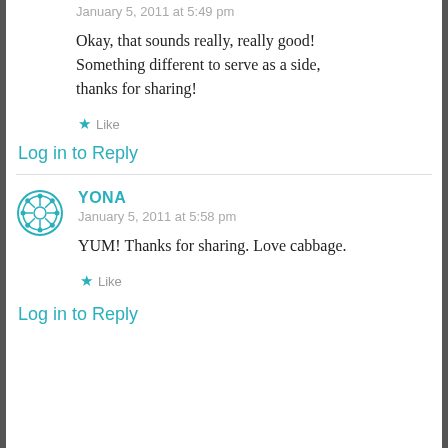January 5, 2011 at 5:49 pm
Okay, that sounds really, really good! Something different to serve as a side, thanks for sharing!
★ Like
Log in to Reply
YONA
January 5, 2011 at 5:58 pm
YUM! Thanks for sharing. Love cabbage.
★ Like
Log in to Reply